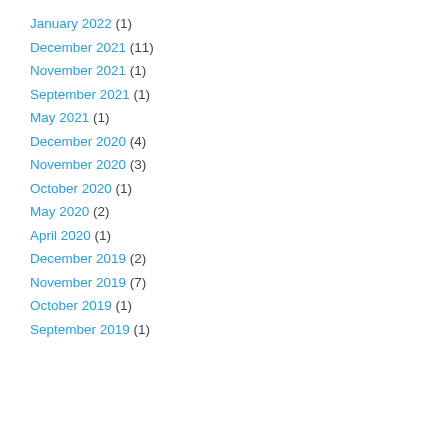January 2022 (1)
December 2021 (11)
November 2021 (1)
September 2021 (1)
May 2021 (1)
December 2020 (4)
November 2020 (3)
October 2020 (1)
May 2020 (2)
April 2020 (1)
December 2019 (2)
November 2019 (7)
October 2019 (1)
September 2019 (1)